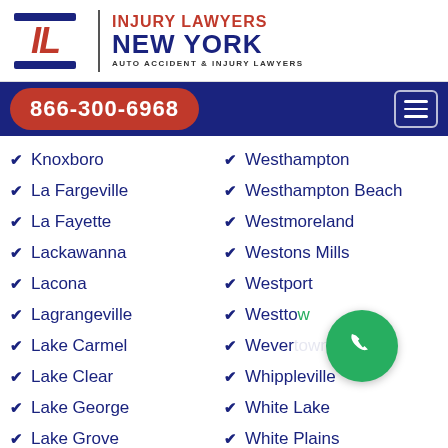[Figure (logo): Injury Lawyers New York logo with IL monogram and text AUTO ACCIDENT & INJURY LAWYERS]
866-300-6968
Knoxboro
La Fargeville
La Fayette
Lackawanna
Lacona
Lagrangeville
Lake Carmel
Lake Clear
Lake George
Lake Grove
Lake Hill
Westhampton
Westhampton Beach
Westmoreland
Westons Mills
Westport
Westtown
Wevertown
Whippleville
White Lake
White Plains
White Sulphur Springs